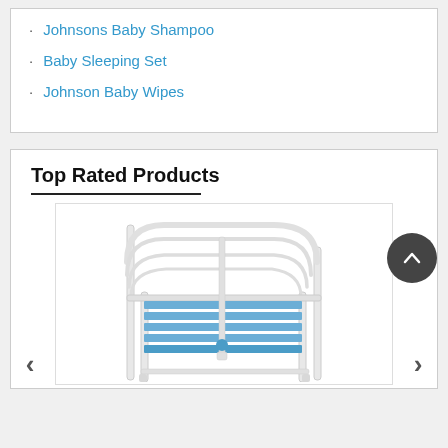Johnsons Baby Shampoo
Baby Sleeping Set
Johnson Baby Wipes
Top Rated Products
[Figure (photo): A white metal baby/hospital cot bed frame with blue mattress slats, shown on white background]